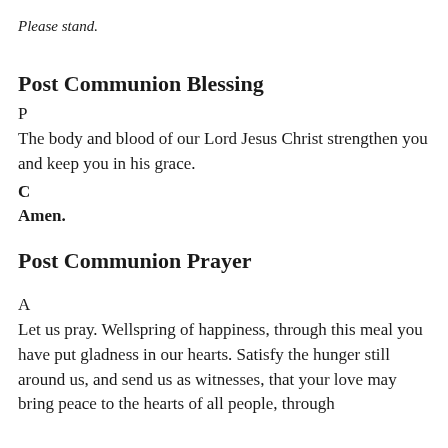Please stand.
Post Communion Blessing
P
The body and blood of our Lord Jesus Christ strengthen you and keep you in his grace.
C
Amen.
Post Communion Prayer
A
Let us pray. Wellspring of happiness, through this meal you have put gladness in our hearts. Satisfy the hunger still around us, and send us as witnesses, that your love may bring peace to the hearts of all people, through